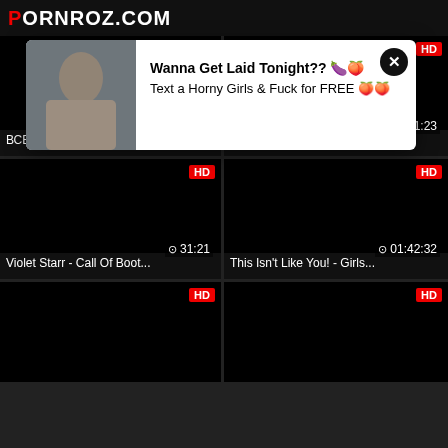PORNROZ.COM
[Figure (screenshot): Video thumbnail grid with 6 video thumbnails (2 columns), all black backgrounds with HD badges and durations]
ВСЕ ФУЛЛЫ / ALLFULLLS... 17:03
ВСЕ ФУЛЛЫ / ALLFULLLS... 21:23
Violet Starr - Call Of Boot... 31:21
This Isn't Like You! - Girls... 01:42:32
[Figure (screenshot): Popup advertisement overlay with woman photo on left and text 'Wanna Get Laid Tonight?? Text a Horny Girls & Fuck for FREE' on right, with X close button]